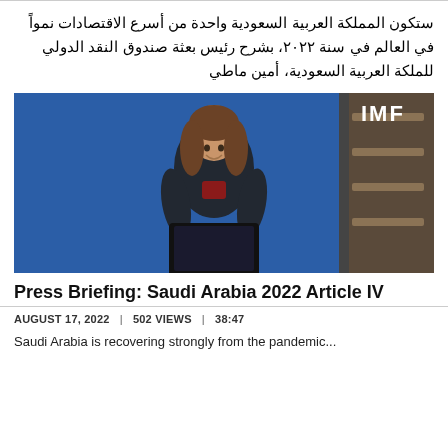ستكون المملكة العربية السعودية واحدة من أسرع الاقتصادات نمواً في العالم في سنة ٢٠٢٢، بشرح رئيس بعثة صندوق النقد الدولي للملكة العربية السعودية، أمين ماطي
[Figure (photo): IMF press briefing: a woman standing at a podium with a laptop, in front of a blue background with the IMF logo in the upper right corner.]
Press Briefing: Saudi Arabia 2022 Article IV
AUGUST 17, 2022 | 502 VIEWS | 38:47
Saudi Arabia is recovering strongly from the pandemic...